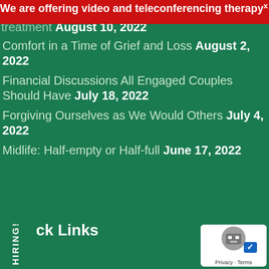We are offering video and teleconferencing therapy
treatment August 10, 2022
Comfort in a Time of Grief and Loss August 2, 2022
Financial Discussions All Engaged Couples Should Have July 18, 2022
Forgiving Ourselves as We Would Others July 4, 2022
Midlife: Half-empty or Half-full June 17, 2022
ck Links
d and Adolescent Therapy
Family Counseling
Group Therapy
Individual Counseling
Marriage and Couples Counseling